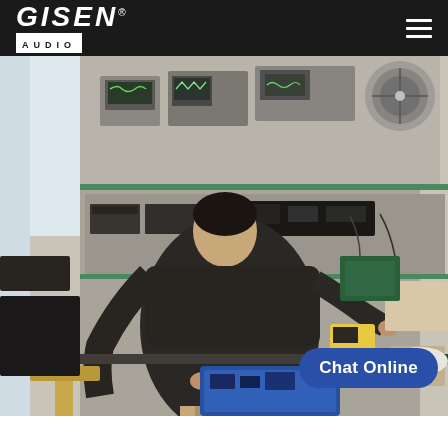GISEN AUDIO
[Figure (photo): A technician working at an electronics workbench in an audio equipment manufacturing facility. The worker is seated with their back to the camera, working on audio equipment. The bench has multiple test instruments including oscilloscopes and signal generators on shelves above. Various cables, circuit boards, and electronic components are visible across the workbench. A blue tray with components is in the foreground.]
Chat Online